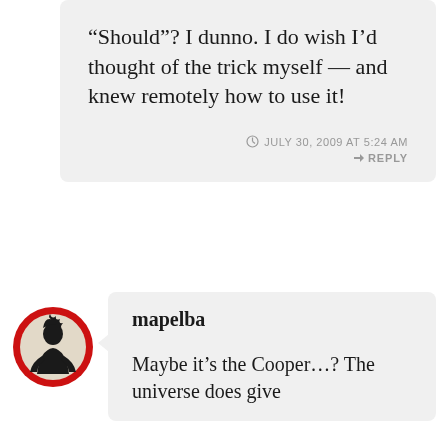“Should”? I dunno. I do wish I’d thought of the trick myself — and knew remotely how to use it!
JULY 30, 2009 AT 5:24 AM   REPLY
[Figure (illustration): Circular avatar with red border containing a black silhouette illustration of a figure]
mapelba
Maybe it’s the Cooper…? The universe does give